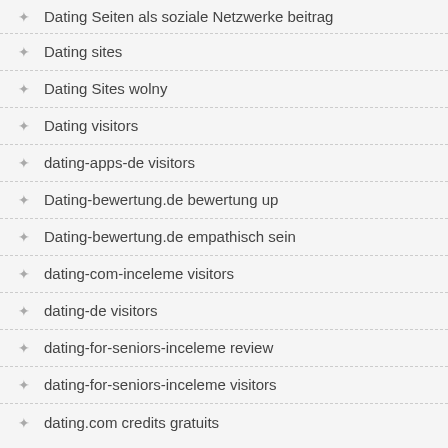Dating Seiten als soziale Netzwerke beitrag
Dating sites
Dating Sites wolny
Dating visitors
dating-apps-de visitors
Dating-bewertung.de bewertung up
Dating-bewertung.de empathisch sein
dating-com-inceleme visitors
dating-de visitors
dating-for-seniors-inceleme review
dating-for-seniors-inceleme visitors
dating.com credits gratuits